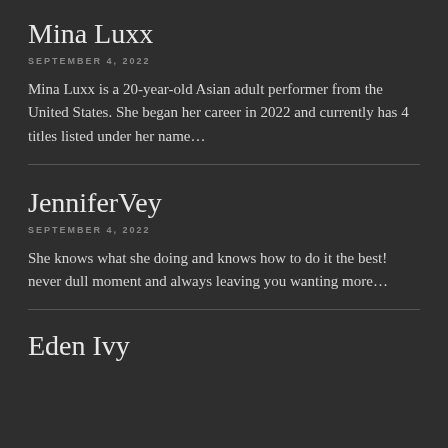Mina Luxx
SEPTEMBER 4, 2022
Mina Luxx is a 20-year-old Asian adult performer from the United States. She began her career in 2022 and currently has 4 titles listed under her name…
JenniferVey
SEPTEMBER 4, 2022
She knows what she doing and knows how to do it the best! never dull moment and always leaving you wanting more…
Eden Ivy